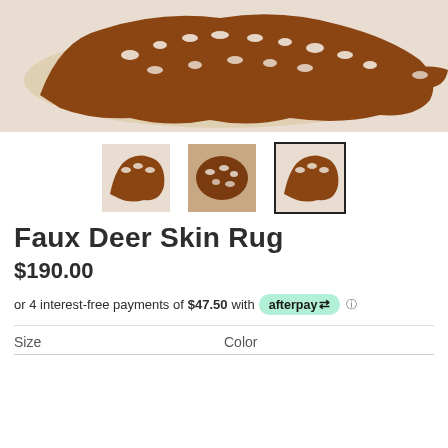[Figure (photo): Main product photo: a faux deer skin rug with brown and white spotted pattern laid flat on a light-colored floor]
[Figure (photo): Three thumbnail images of the faux deer skin rug from different angles; third thumbnail is selected with a black border]
Faux Deer Skin Rug
$190.00
or 4 interest-free payments of $47.50 with afterpay ℹ
Size
Color